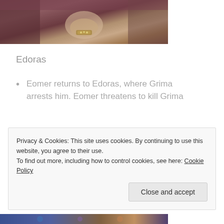[Figure (photo): Partial image of a classical or fantasy painting showing hands holding an ornate object, with dark reddish-brown tones.]
Edoras
Eomer returns to Edoras, where Grima arrests him. Eomer threatens to kill Grima
Privacy & Cookies: This site uses cookies. By continuing to use this website, you agree to their use.
To find out more, including how to control cookies, see here: Cookie Policy
Close and accept
[Figure (photo): Partial image at bottom of page showing a blue/brown toned fantasy scene.]